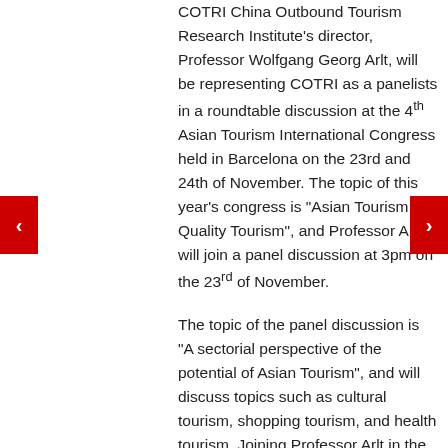COTRI China Outbound Tourism Research Institute's director, Professor Wolfgang Georg Arlt, will be representing COTRI as a panelists in a roundtable discussion at the 4th Asian Tourism International Congress held in Barcelona on the 23rd and 24th of November. The topic of this year's congress is "Asian Tourism, Quality Tourism", and Professor Arlt will join a panel discussion at 3pm on the 23rd of November.
The topic of the panel discussion is "A sectorial perspective of the potential of Asian Tourism", and will discuss topics such as cultural tourism, shopping tourism, and health tourism. Joining Professor Arlt in the roundtable discussion are Luis José Llorca of Global Blue, Suresh Ponnudurai of Malaysia Healthcare, and Ángel Diaz of ALS Advanced Leisure Services.
As part of the panel discussion, Professor Arlt will give a statement on how Chinese outbound tourism will boost the global